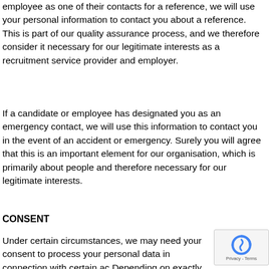employee as one of their contacts for a reference, we will use your personal information to contact you about a reference. This is part of our quality assurance process, and we therefore consider it necessary for our legitimate interests as a recruitment service provider and employer.
If a candidate or employee has designated you as an emergency contact, we will use this information to contact you in the event of an accident or emergency. Surely you will agree that this is an important element for our organisation, which is primarily about people and therefore necessary for our legitimate interests.
CONSENT
Under certain circumstances, we may need your consent to process your personal data in connection with certain ac Depending on exactly what your data is needed for, we may